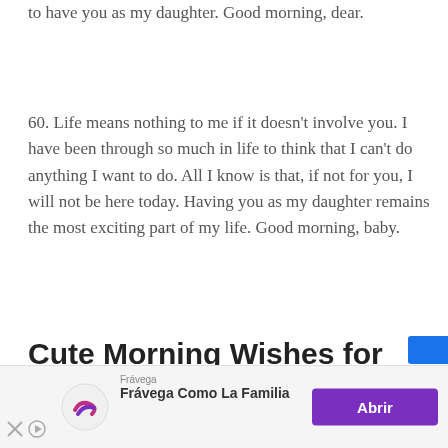to have you as my daughter. Good morning, dear.
60. Life means nothing to me if it doesn't involve you. I have been through so much in life to think that I can't do anything I want to do. All I know is that, if not for you, I will not be here today. Having you as my daughter remains the most exciting part of my life. Good morning, baby.
Cute Morning Wishes for Your Daughter
[Figure (infographic): Advertisement banner for Frávega featuring purple logo, text 'Frávega Como La Familia' and an 'Abrir' button]